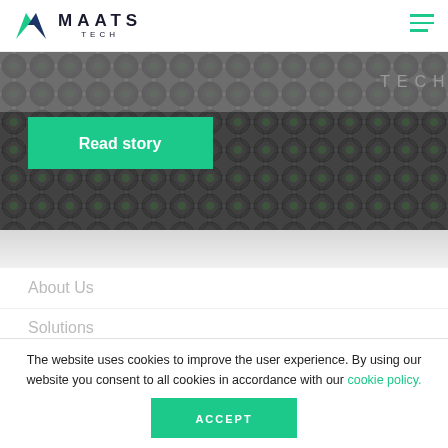MAATS TECH
[Figure (screenshot): Dark background banner with repeating circular/cable pattern texture. Text 'TECH' in top right. Green 'Read story' button on left.]
About Us
Solutions
FEA
The website uses cookies to improve the user experience. By using our website you consent to all cookies in accordance with our cookie policy.
ACCEPT